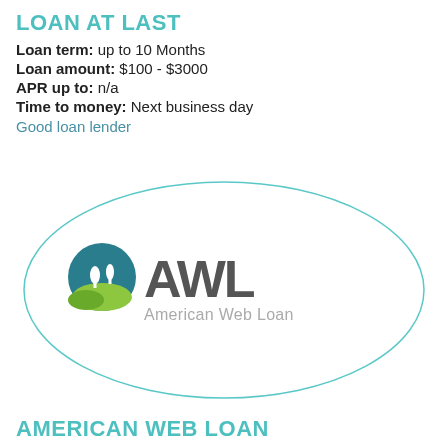LOAN AT LAST
Loan term: up to 10 Months
Loan amount: $100 - $3000
APR up to: n/a
Time to money: Next business day
Good loan lender
[Figure (logo): American Web Loan logo inside an oval border. Circular icon with teal background showing two white trees above green hills, followed by bold gray text AWL and lighter gray text American Web Loan below.]
AMERICAN WEB LOAN